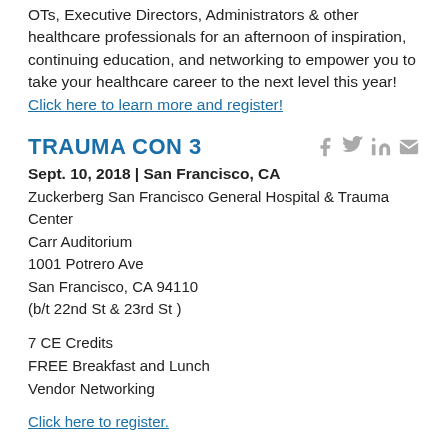OTs, Executive Directors, Administrators & other healthcare professionals for an afternoon of inspiration, continuing education, and networking to empower you to take your healthcare career to the next level this year!
Click here to learn more and register!
TRAUMA CON 3
Sept. 10, 2018 | San Francisco, CA
Zuckerberg San Francisco General Hospital & Trauma Center
Carr Auditorium
1001 Potrero Ave
San Francisco, CA 94110
(b/t 22nd St & 23rd St )
7 CE Credits
FREE Breakfast and Lunch
Vendor Networking
Click here to register.
NEWS FROM AROUND THE INDUSTRY